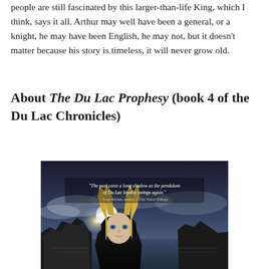people are still fascinated by this larger-than-life King, which I think, says it all. Arthur may well have been a general, or a knight, he may have been English, he may not, but it doesn't matter because his story is timeless, it will never grow old.
About The Du Lac Prophesy (book 4 of the Du Lac Chronicles)
[Figure (photo): Book cover of The Du Lac Prophesy showing a blonde woman in a dark cloak against a coastal background with dramatic sky. Quote: 'The past casts a long shadow as the pendulum of Du Lac loyalty swings again.' - Tony Riches, author of The Tudor Trilogy.]